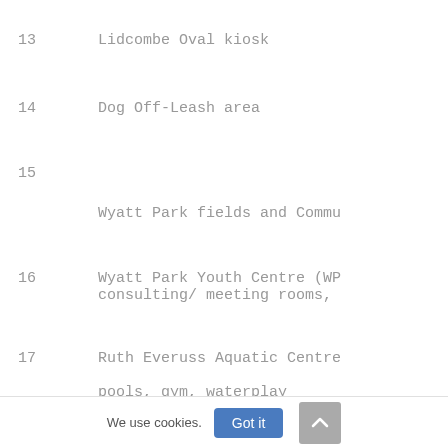13   Lidcombe Oval kiosk
14   Dog Off-Leash area
15   Wyatt Park fields and Commu
16   Wyatt Park Youth Centre (WP consulting/ meeting rooms,
17   Ruth Everuss Aquatic Centre
     pools, gym, waterplay
18   Skate bowl
We use cookies.
Got it